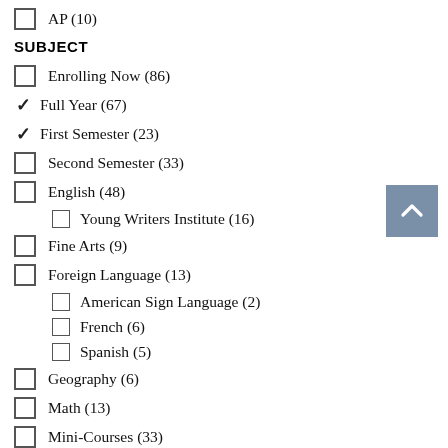AP (10)
SUBJECT
Enrolling Now (86)
Full Year (67) [checked]
First Semester (23) [checked]
Second Semester (33)
English (48)
Young Writers Institute (16)
Fine Arts (9)
Foreign Language (13)
American Sign Language (2)
French (6)
Spanish (5)
Geography (6)
Math (13)
Mini-Courses (33)